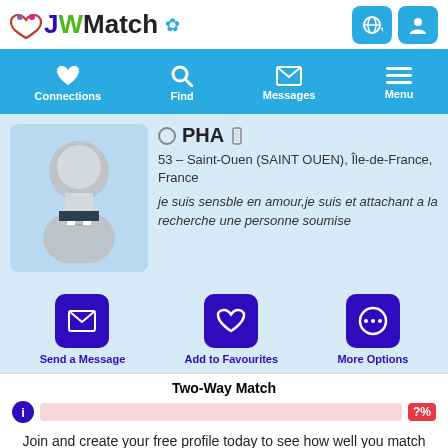[Figure (logo): JWMatch logo with heart icon, JW in purple/green, Match in black, flower icon in blue]
Connections | Find | Messages | Menu
[Figure (photo): Default male avatar silhouette in a circular frame on a light blue background]
PHA
53 – Saint-Ouen (SAINT OUEN), Île-de-France, France
je suis sensble en amour,je suis et attachant a la recherche une personne soumise
Send a Message | Add to Favourites | More Options
Two-Way Match
Join and create your free profile today to see how well you match with him, and hundreds more.
Join now
Online: More than 6 months ago